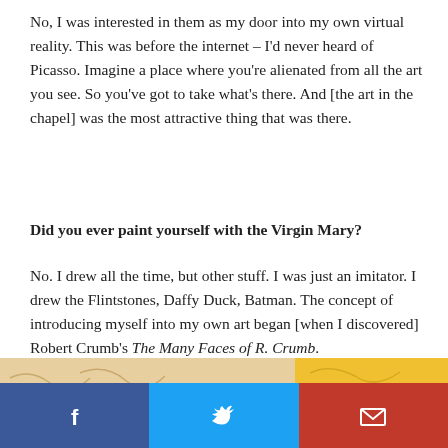No, I was interested in them as my door into my own virtual reality. This was before the internet – I'd never heard of Picasso. Imagine a place where you're alienated from all the art you see. So you've got to take what's there. And [the art in the chapel] was the most attractive thing that was there.
Did you ever paint yourself with the Virgin Mary?
No. I drew all the time, but other stuff. I was just an imitator. I drew the Flintstones, Daffy Duck, Batman. The concept of introducing myself into my own art began [when I discovered] Robert Crumb's The Many Faces of R. Crumb.
[Figure (illustration): Decorative illustrated background with sandy/warm beige tones and yellow, featuring curving line motifs.]
[Figure (infographic): Social sharing bar with three buttons: Facebook (blue), Twitter (light blue), Email (red), each showing respective icons.]